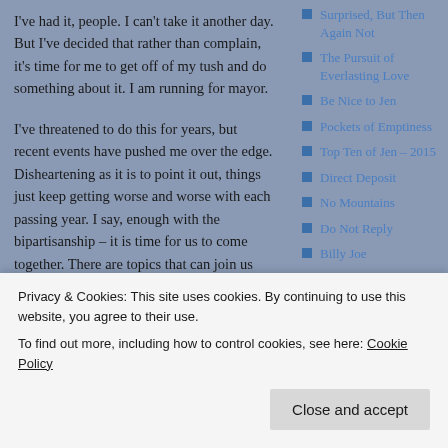I've had it, people.  I can't take it another day.  But I've decided that rather than complain, it's time for me to get off of my tush and do something about it.  I am running for mayor.
I've threatened to do this for years, but recent events have pushed me over the edge.  Disheartening as it is to point it out, things just keep getting worse and worse with each passing year.  I say, enough with the bipartisanship – it is time for us to come together.  There are topics that can join us together, and I believe I have one that is
Surprised, But Then Again Not
The Pursuit of Everlasting Love
Be Nice to Jen
Pockets of Emptiness
Top Ten of Jen – 2015
Direct Deposit
No Mountains
Do Not Reply
Billy Joe
WHAT PEOPLE
Love
Privacy & Cookies: This site uses cookies. By continuing to use this website, you agree to their use.
To find out more, including how to control cookies, see here: Cookie Policy